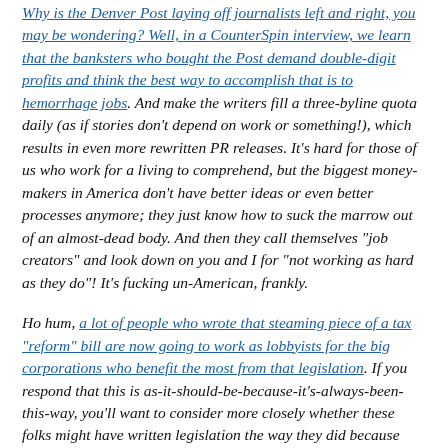Why is the Denver Post laying off journalists left and right, you may be wondering? Well, in a CounterSpin interview, we learn that the banksters who bought the Post demand double-digit profits and think the best way to accomplish that is to hemorrhage jobs. And make the writers fill a three-byline quota daily (as if stories don't depend on work or something!), which results in even more rewritten PR releases. It's hard for those of us who work for a living to comprehend, but the biggest money-makers in America don't have better ideas or even better processes anymore; they just know how to suck the marrow out of an almost-dead body. And then they call themselves "job creators" and look down on you and I for "not working as hard as they do"! It's fucking un-American, frankly.
Ho hum, a lot of people who wrote that steaming piece of a tax "reform" bill are now going to work as lobbyists for the big corporations who benefit the most from that legislation. If you respond that this is as-it-should-be-because-it's-always-been-this-way, you'll want to consider more closely whether these folks might have written legislation the way they did because they knew they could cash in on their "expertise" more easily. You might also think of some other things that used to be always-this-way (you know, like segregation) and maybe demand a little more of your values than you're doing now.
After our President disinvited the Super Bowl champion Philadelphia Eagles from a White House visit in yet another manic fit of whining self-pity, the Fox News (sic) Channel, in reporting on the matter, showed photographs of several